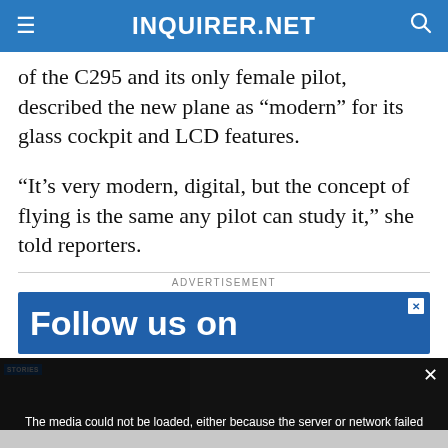INQUIRER.NET
of the C295 and its only female pilot, described the new plane as “modern” for its glass cockpit and LCD features.
“It’s very modern, digital, but the concept of flying is the same any pilot can study it,” she told reporters.
ADVERTISEMENT
[Figure (screenshot): Blue advertisement banner with bold white text 'Follow us on']
[Figure (screenshot): Video player overlay showing media error message and thumbnail of historian story about Rizal's height. Error text: 'The media could not be loaded, either because the server or network failed or because the format is not supported.']